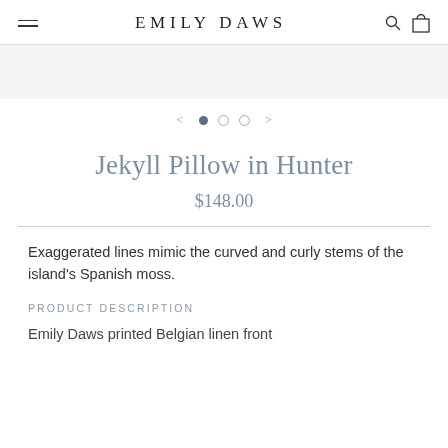EMILY DAWS
[Figure (other): Gray band image area placeholder]
[Figure (other): Carousel navigation with left arrow, three dots (first filled, two empty), and right arrow]
Jekyll Pillow in Hunter
$148.00
Exaggerated lines mimic the curved and curly stems of the island's Spanish moss.
PRODUCT DESCRIPTION
Emily Daws printed Belgian linen front